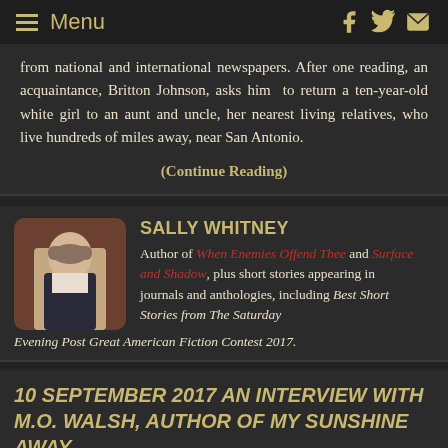Menu
from national and international newspapers. After one reading, an acquaintance, Britton Johnson, asks him to return a ten-year-old white girl to an aunt and uncle, her nearest living relatives, who live hundreds of miles away, near San Antonio.
(Continue Reading)
SALLY WHITNEY
Author of When Enemies Offend Thee and Surface and Shadow, plus short stories appearing in journals and anthologies, including Best Short Stories from The Saturday Evening Post Great American Fiction Contest 2017.
10 SEPTEMBER 2017 AN INTERVIEW WITH M.O. WALSH, AUTHOR OF MY SUNSHINE AWAY